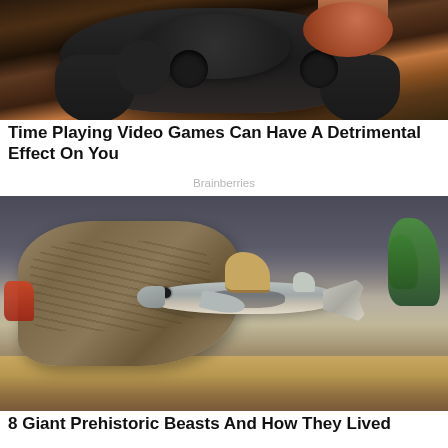[Figure (photo): Close-up photo of a dark video game controller on a wooden surface, with a person's fingers visible at the top.]
Time Playing Video Games Can Have A Detrimental Effect On You
Brainberries
[Figure (photo): Miniature shark figure swimming over a detailed sandy diorama with driftwood rock formation and green plants in the background.]
8 Giant Prehistoric Beasts And How They Lived
Brainberries
[Figure (photo): Partial image of a third article, dark toned photo (cut off at bottom of page).]